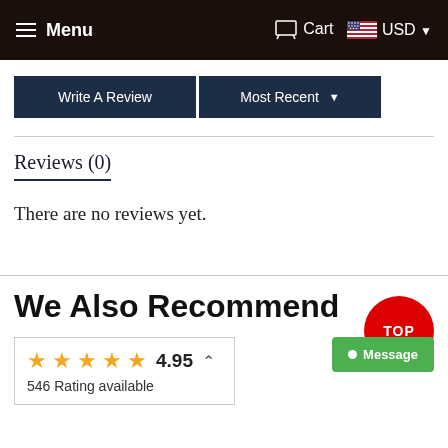Menu  Cart  USD
Write A Review
Most Recent
Reviews (0)
There are no reviews yet.
We Also Recommend
4.95  546 Rating available
TOP
Message